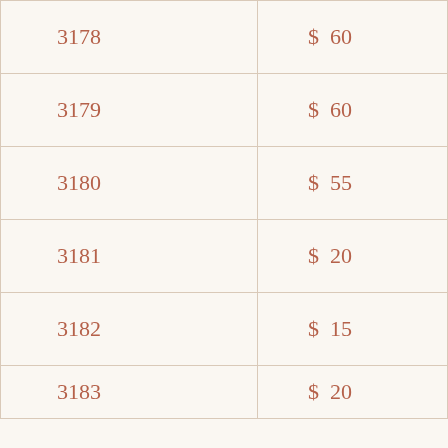| 3178 | $ 60 |
| 3179 | $ 60 |
| 3180 | $ 55 |
| 3181 | $ 20 |
| 3182 | $ 15 |
| 3183 | $ 20 |